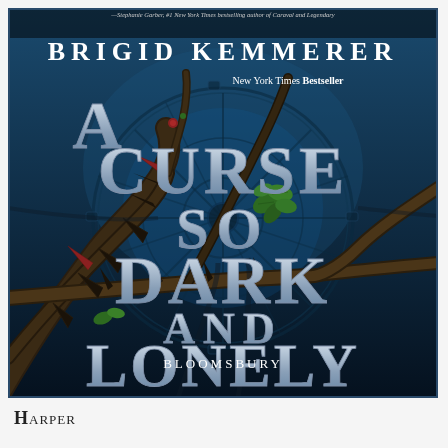[Figure (illustration): Book cover of 'A Curse So Dark and Lonely' by Brigid Kemmerer, published by Bloomsbury. Dark blue background with thorny branches, a ferris wheel silhouette, and climbing green vines. Large metallic silver title text. Quote from Stephanie Garber at top. 'New York Times Bestseller' badge.]
Harper